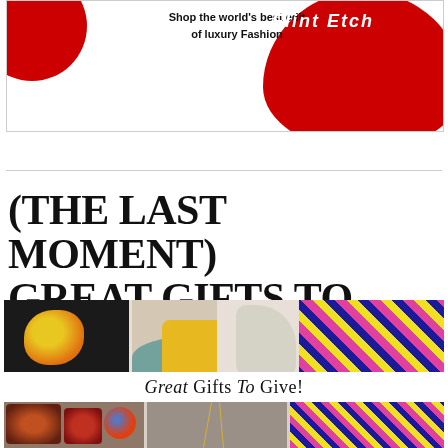[Figure (illustration): Advertisement banner for luxury fashion website with red circular shapes and text 'Shop the world's best edit of luxury Fashion' and stylized brand text on red background]
(THE LAST MOMENT) GREAT GIFTS TO GIVE!
[Figure (photo): Collage of gift items including jewelry, patterned bags, accessories with text overlay 'Great Gifts To Give!']